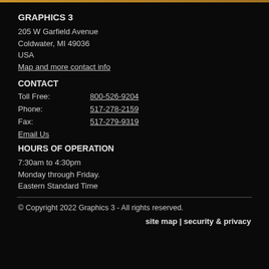GRAPHICS 3
205 W Garfield Avenue
Coldwater, MI 49036
USA
Map and more contact info
CONTACT
Toll Free: 800-526-9204
Phone: 517-278-2159
Fax: 517-279-9319
Email Us
HOURS OF OPERATION
7:30am to 4:30pm
Monday through Friday.
Eastern Standard Time
© Copyright 2022 Graphics 3 - All rights reserved.
site map | security & privacy